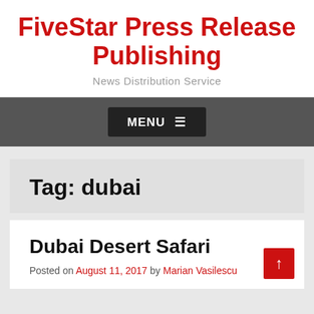FiveStar Press Release Publishing
News Distribution Service
MENU ☰
Tag: dubai
Dubai Desert Safari
Posted on August 11, 2017 by Marian Vasilescu